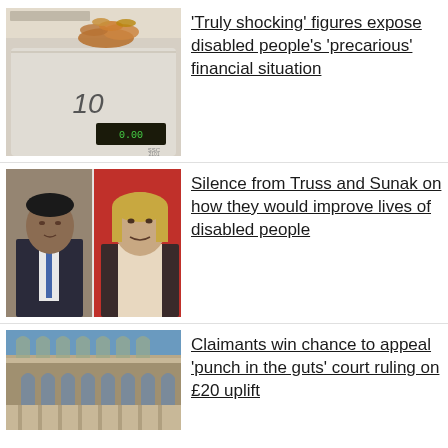[Figure (photo): Photo of coins on a weighing scale showing the number 10, with a digital display reading what appears to be a small amount]
'Truly shocking' figures expose disabled people's 'precarious' financial situation
[Figure (photo): Side-by-side photos of Rishi Sunak (left, in suit with tie against brick wall) and Liz Truss (right, smiling against red background)]
Silence from Truss and Sunak on how they would improve lives of disabled people
[Figure (photo): Photo of a large ornate stone building (court building) with Gothic architecture against a blue sky]
Claimants win chance to appeal 'punch in the guts' court ruling on £20 uplift